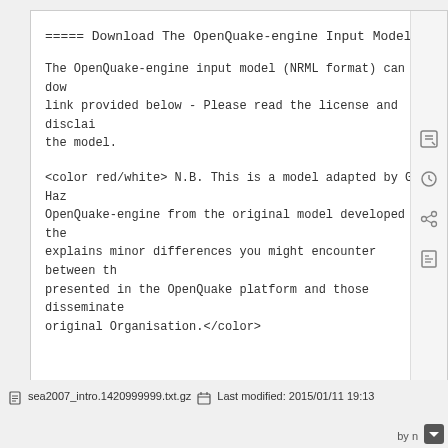===== Download The OpenQuake-engine Input Model =====
The OpenQuake-engine input model (NRML format) can be downloaded using the link provided below - Please read the license and disclaimer before using the model.
<color red/white> N.B. This is a model adapted by GEM Hazard from the OpenQuake-engine from the original model developed by the organisation. This explains minor differences you might encounter between the results presented in the OpenQuake platform and those disseminated by the original Organisation.</color>
[[ https://platform.openquake.org/documents/120| Down...
sea2007_intro.1420999999.txt.gz   Last modified: 2015/01/11 19:13   by n...